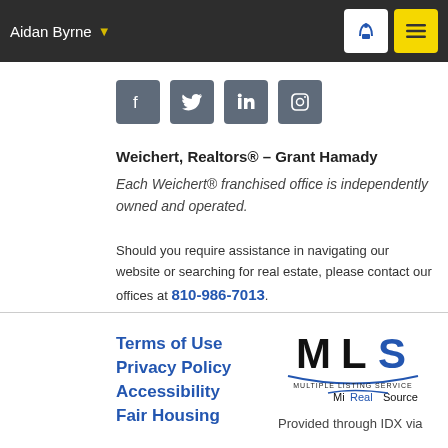Aidan Byrne
[Figure (other): Social media icons: Facebook, Twitter, LinkedIn, Instagram]
Weichert, Realtors® – Grant Hamady
Each Weichert® franchised office is independently owned and operated.
Should you require assistance in navigating our website or searching for real estate, please contact our offices at 810-986-7013.
Terms of Use
Privacy Policy
Accessibility
Fair Housing Statement
[Figure (logo): MLS Multiple Listing Service MiRealSource logo]
Provided through IDX via